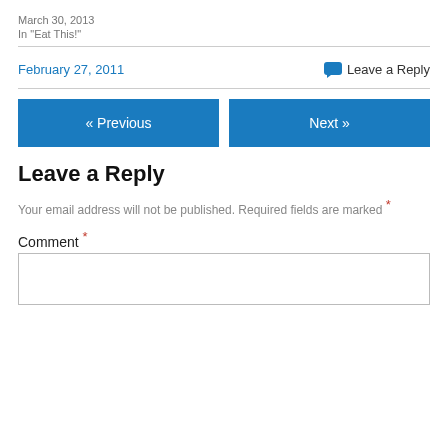March 30, 2013
In "Eat This!"
February 27, 2011
Leave a Reply
« Previous
Next »
Leave a Reply
Your email address will not be published. Required fields are marked *
Comment *